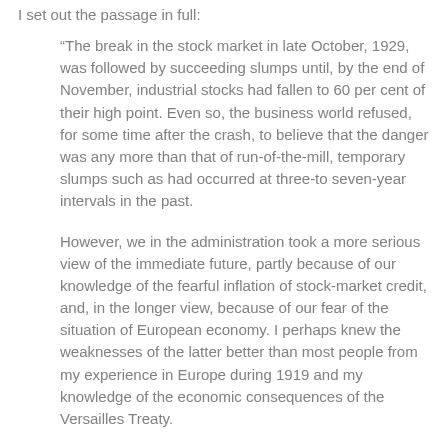I set out the passage in full:
“The break in the stock market in late October, 1929, was followed by succeeding slumps until, by the end of November, industrial stocks had fallen to 60 per cent of their high point. Even so, the business world refused, for some time after the crash, to believe that the danger was any more than that of run-of-the-mill, temporary slumps such as had occurred at three-to seven-year intervals in the past.
However, we in the administration took a more serious view of the immediate future, partly because of our knowledge of the fearful inflation of stock-market credit, and, in the longer view, because of our fear of the situation of European economy. I perhaps knew the weaknesses of the latter better than most people from my experience in Europe during 1919 and my knowledge of the economic consequences of the Versailles Treaty.